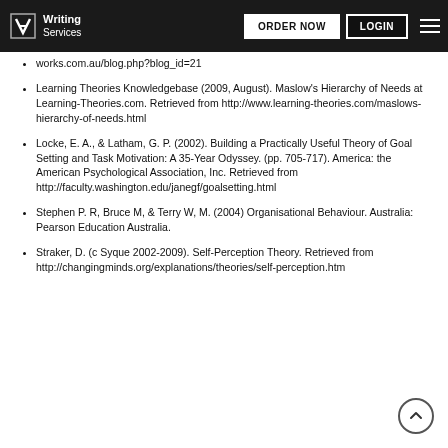Writing Services — ORDER NOW | LOGIN
works.com.au/blog.php?blog_id=21
Learning Theories Knowledgebase (2009, August). Maslow's Hierarchy of Needs at Learning-Theories.com. Retrieved from http://www.learning-theories.com/maslows-hierarchy-of-needs.html
Locke, E. A., & Latham, G. P. (2002). Building a Practically Useful Theory of Goal Setting and Task Motivation: A 35-Year Odyssey. (pp. 705-717). America: the American Psychological Association, Inc. Retrieved from http://faculty.washington.edu/janegf/goalsetting.html
Stephen P. R, Bruce M, & Terry W, M. (2004) Organisational Behaviour. Australia: Pearson Education Australia.
Straker, D. (c Syque 2002-2009). Self-Perception Theory. Retrieved from http://changingminds.org/explanations/theories/self-perception.htm